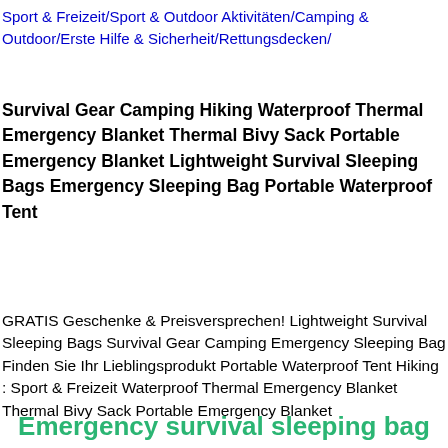Sport & Freizeit/Sport & Outdoor Aktivitäten/Camping & Outdoor/Erste Hilfe & Sicherheit/Rettungsdecken/
Survival Gear Camping Hiking Waterproof Thermal Emergency Blanket Thermal Bivy Sack Portable Emergency Blanket Lightweight Survival Sleeping Bags Emergency Sleeping Bag Portable Waterproof Tent
GRATIS Geschenke & Preisversprechen! Lightweight Survival Sleeping Bags Survival Gear Camping Emergency Sleeping Bag Finden Sie Ihr Lieblingsprodukt Portable Waterproof Tent Hiking : Sport & Freizeit Waterproof Thermal Emergency Blanket Thermal Bivy Sack Portable Emergency Blanket
Emergency survival sleeping bag